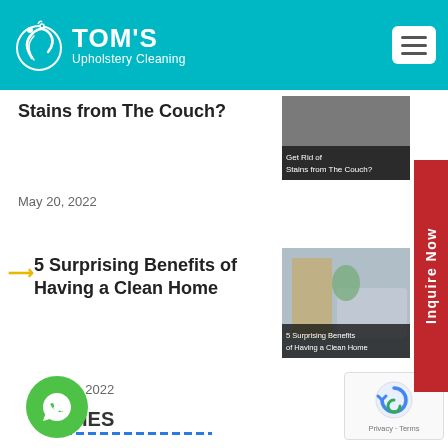TOM'S Upholstery Cleaning
Stains from The Couch?
[Figure (photo): Thumbnail image with text 'Get Rid of Stains from The Couch?']
May 20, 2022
5 Surprising Benefits of Having a Clean Home
[Figure (photo): Thumbnail image of a clean living room with sofa and text '5 Surprising Benefits of Having a Clean Home']
April 26, 2022
ORIES
[Figure (logo): WhatsApp chat button (green circle with chat icon)]
[Figure (other): reCAPTCHA badge showing Privacy and Terms]